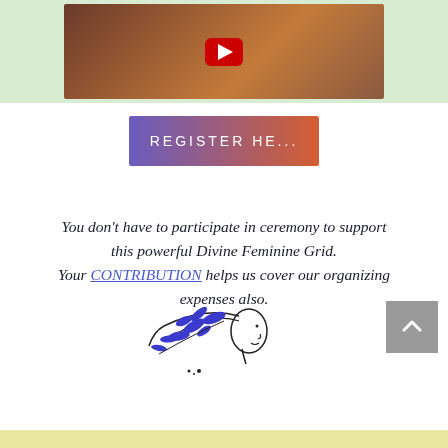[Figure (screenshot): YouTube video thumbnail showing a person with curly hair and a YouTube play button overlay, set against a light green banner background]
[Figure (other): Register Here button with purple to orange gradient background and white uppercase text reading REGISTER HE...]
You don't have to participate in ceremony to support this powerful Divine Feminine Grid.
Your CONTRIBUTION helps us cover our organizing expenses also.
[Figure (illustration): Line drawing of a woman's profile with blue leaf/branch elements in her flowing hair]